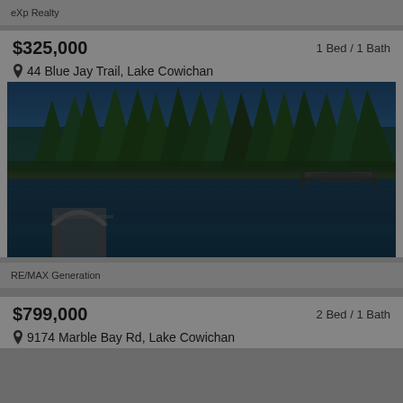eXp Realty
$325,000   1 Bed / 1 Bath
44 Blue Jay Trail, Lake Cowichan
[Figure (photo): Lakeside scene with tall evergreen trees reflected in still dark water, a dock visible on the right and an arched entry structure on the lower left]
RE/MAX Generation
$799,000   2 Bed / 1 Bath
9174 Marble Bay Rd, Lake Cowichan